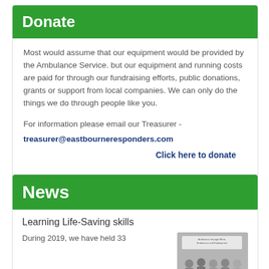Donate
Most would assume that our equipment would be provided by the Ambulance Service. but our equipment and running costs are paid for through our fundraising efforts, public donations, grants or support from local companies. We can only do the things we do through people like you.
For information please email our Treasurer - treasurer@eastbourneresponders.com
Click here to donate
News
Learning Life-Saving skills
During 2019, we have held 33
[Figure (photo): Group photo of people at a life-saving skills event with text banner in background]